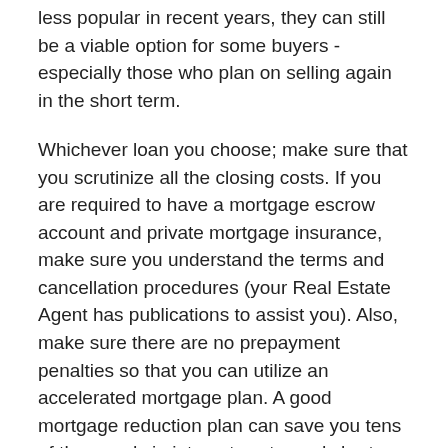less popular in recent years, they can still be a viable option for some buyers - especially those who plan on selling again in the short term.
Whichever loan you choose; make sure that you scrutinize all the closing costs. If you are required to have a mortgage escrow account and private mortgage insurance, make sure you understand the terms and cancellation procedures (your Real Estate Agent has publications to assist you). Also, make sure there are no prepayment penalties so that you can utilize an accelerated mortgage plan. A good mortgage reduction plan can save you tens of thousands in interest costs, and shorten your loan term, with only small extra principal payments. If you experience negative changes in your job, health, or marital status, you can revert to the standard payments in your mortgage contract.